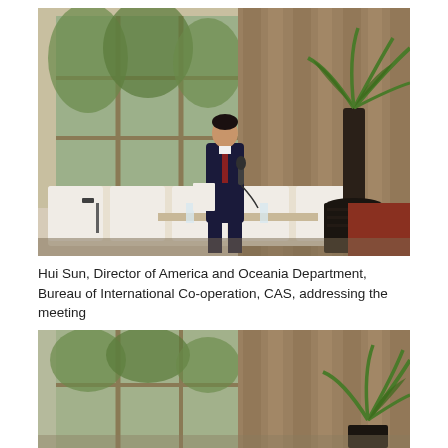[Figure (photo): A man in a dark suit holding a microphone and papers, standing at the front of a conference room. Behind him are large windows with green trees outside, beige/brown curtains, white chairs arranged in a row, a potted palm plant, and microphone stands on a table. The room has a patterned carpet.]
Hui Sun, Director of America and Oceania Department, Bureau of International Co-operation, CAS, addressing the meeting
[Figure (photo): Partial view of the same conference room showing large windows with trees outside, brown curtains, and a potted palm plant in the foreground. The image is cropped at the bottom.]